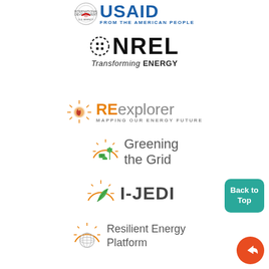[Figure (logo): USAID 'From the American People' logo with circular seal and blue text]
[Figure (logo): NREL (National Renewable Energy Laboratory) logo with dashed sun icon and tagline 'Transforming ENERGY']
[Figure (logo): REexplorer 'Mapping Our Energy Future' logo with orange sun and flame icon]
[Figure (logo): Greening the Grid logo with orange sun, green building and wind turbine icon]
[Figure (logo): I-JEDI logo with orange sun and green leaf icon]
[Figure (logo): Resilient Energy Platform logo with orange sun and globe/geodesic sphere icon]
[Figure (other): Teal 'Back to Top' button]
[Figure (other): Orange circular share/forward icon]